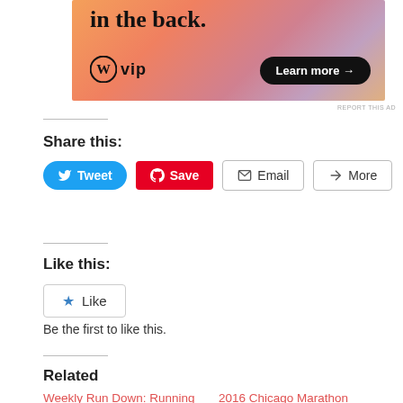[Figure (illustration): WordPress VIP advertisement banner with gradient orange/pink/purple background. Text reads 'in the back.' with WordPress VIP logo and 'Learn more →' button.]
REPORT THIS AD
Share this:
Tweet  Save  Email  More
Like this:
Like
Be the first to like this.
Related
Weekly Run Down: Running and my upcoming races
March 10, 2019
In "BibRave Pro"
2016 Chicago Marathon Training Week 1
June 12, 2016
In "Chicago Endurance Sports"